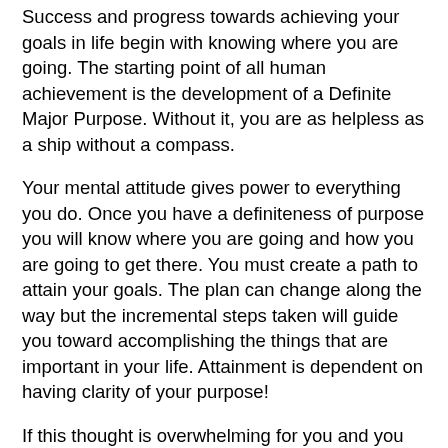Success and progress towards achieving your goals in life begin with knowing where you are going. The starting point of all human achievement is the development of a Definite Major Purpose. Without it, you are as helpless as a ship without a compass.
Your mental attitude gives power to everything you do. Once you have a definiteness of purpose you will know where you are going and how you are going to get there. You must create a path to attain your goals. The plan can change along the way but the incremental steps taken will guide you toward accomplishing the things that are important in your life. Attainment is dependent on having clarity of your purpose!
If this thought is overwhelming for you and you don't know where to begin, start on a small scale by thinking just about this very day before you. What is your purpose today? Do you have a definite direction toward that purpose, a plan of action steps to get you to achieve what is necessary to make your day productive? Without one, you most likely will end the day wondering where the time went, why nothing got